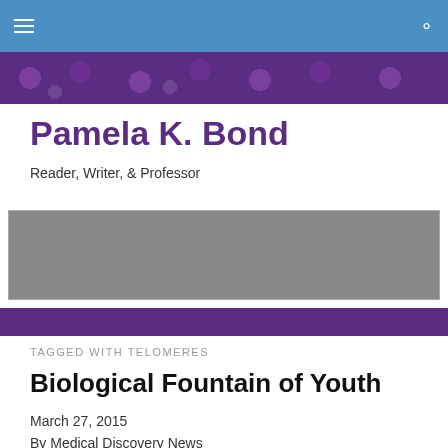Navigation bar with hamburger menu and search icon
[Figure (illustration): Purple decorative band with abstract circular blob patterns at top of page]
Pamela K. Bond
Reader, Writer, & Professor
[Figure (other): Gray rectangular banner placeholder]
[Figure (illustration): Purple decorative band with abstract pattern at bottom of banner area]
TAGGED WITH TELOMERES
Biological Fountain of Youth
March 27, 2015
By Medical Discovery News